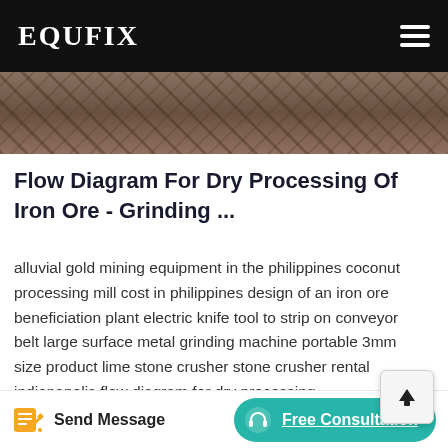EQUFIX
[Figure (photo): Industrial machinery/metal processing equipment photo strip at top]
Flow Diagram For Dry Processing Of Iron Ore - Grinding ...
alluvial gold mining equipment in the philippines coconut processing mill cost in philippines design of an iron ore beneficiation plant electric knife tool to strip on conveyor belt large surface metal grinding machine portable 3mm size product lime stone crusher stone crusher rental indianapolis flow diagram for dry processing ...
[Figure (photo): Industrial metal grid/scaffold structure photo strip at bottom]
Send Message  Free Consultation